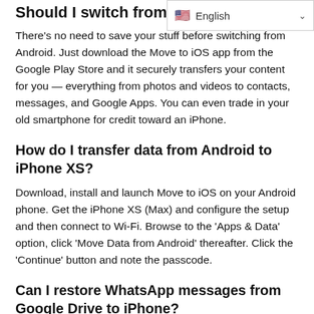Should I switch from And…
[Figure (other): Language selector dropdown showing English with flag icon and chevron]
There's no need to save your stuff before switching from Android. Just download the Move to iOS app from the Google Play Store and it securely transfers your content for you — everything from photos and videos to contacts, messages, and Google Apps. You can even trade in your old smartphone for credit toward an iPhone.
How do I transfer data from Android to iPhone XS?
Download, install and launch Move to iOS on your Android phone. Get the iPhone XS (Max) and configure the setup and then connect to Wi-Fi. Browse to the 'Apps & Data' option, click 'Move Data from Android' thereafter. Click the 'Continue' button and note the passcode.
Can I restore WhatsApp messages from Google Drive to iPhone?
You can only restore Whatsapp chats from Google Drive if you are using an Android-based phone, and from iCloud if